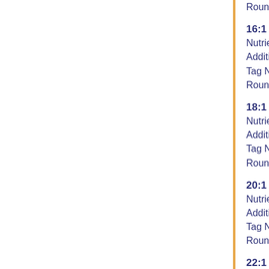Rounded to dec points: 3
16:1 undifferentiated
Nutrient Val: 0 g
Additional Fortification:
Tag Name: F16D1
Rounded to dec points: 3
18:1 undifferentiated
Nutrient Val: 7 g
Additional Fortification:
Tag Name: F18D1
Rounded to dec points: 3
20:1
Nutrient Val: 0 g
Additional Fortification:
Tag Name: F20D1
Rounded to dec points: 3
22:1 undifferentiated
Nutrient Val: 0 g
Additional Fortification:
Tag Name: F22D1
Rounded to dec points: 3